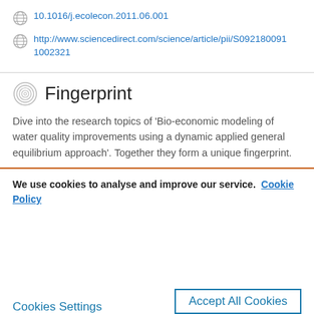10.1016/j.ecolecon.2011.06.001
http://www.sciencedirect.com/science/article/pii/S0921800911002321
Fingerprint
Dive into the research topics of 'Bio-economic modeling of water quality improvements using a dynamic applied general equilibrium approach'. Together they form a unique fingerprint.
We use cookies to analyse and improve our service. Cookie Policy
Cookies Settings
Accept All Cookies